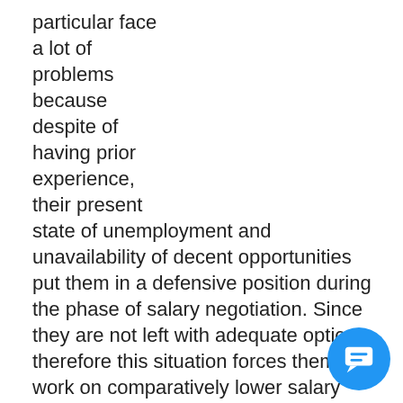particular face
a lot of
problems
because
despite of
having prior
experience,
their present
state of unemployment and unavailability of decent opportunities put them in a defensive position during the phase of salary negotiation. Since they are not left with adequate options therefore this situation forces them to work on comparatively lower salary scales against the job responsibilities assigned.
Please provide your valuable suggestions on how can unemployed job seekers do salary negotiations successfully?  Moreover, what as per your experience are